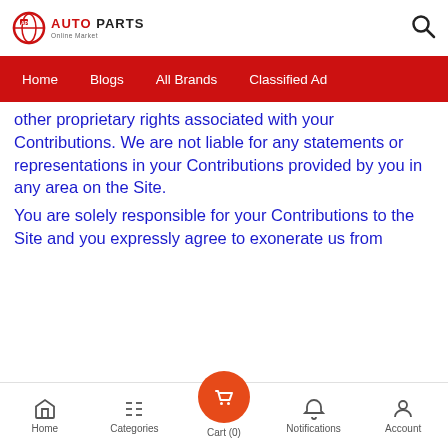AUTO PARTS Online Market
Home | Blogs | All Brands | Classified Ad
other proprietary rights associated with your Contributions. We are not liable for any statements or representations in your Contributions provided by you in any area on the Site.
You are solely responsible for your Contributions to the Site and you expressly agree to exonerate us from
Home | Categories | Cart (0) | Notifications | Account